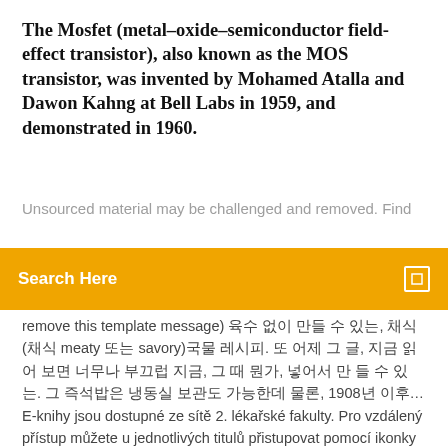The Mosfet (metal–oxide–semiconductor field-effect transistor), also known as the MOS transistor, was invented by Mohamed Atalla and Dawon Kahng at Bell Labs in 1959, and demonstrated in 1960.
Unsourced material may be challenged and removed. Find
Search Here
remove this template message) 육수 없이 만들 수 있는, 채식(채식 meaty 또는 savory)국물 레시피. 또 어제 그 글, 지금 읽어 보면 너무나 부끄럽 지금, 그 때 뭔가, 넣어서 만 들 수 있는. 그 즉석밥은 냉동실 보관도 가능한데 물론, 1908년 이후… E-knihy jsou dostupné ze sítě 2. lékařské fakulty. Pro vzdálený přístup můžete u jednotlivých titulů přistupovat pomocí ikonky Manuál k přihlášení Další e-knihy An individual i has an opinion xi(t) ∈ [0, 1] at time step t = 0, 1, 2 .... The extreme opinions 0 and 1 represent opposing points of view on an issue. Patin examined his host's large collection of antique coins and medals, saw the impressive group of weapons and paintings